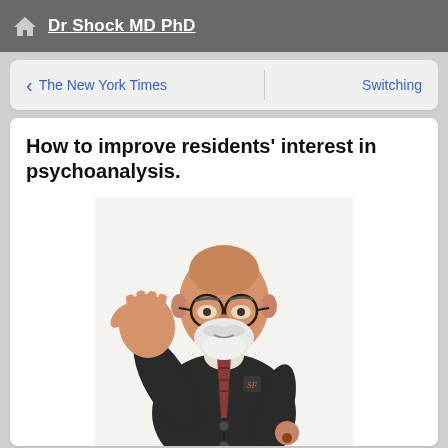Dr Shock MD PhD
The New York Times    Switching
How to improve residents' interest in psychoanalysis.
[Figure (photo): A figurine or bobblehead toy depicting Sigmund Freud — an older bearded man wearing round glasses, a dark cardigan with 'SF' monogram, striped tie, with one hand raised open-palmed and the other holding a small object.]